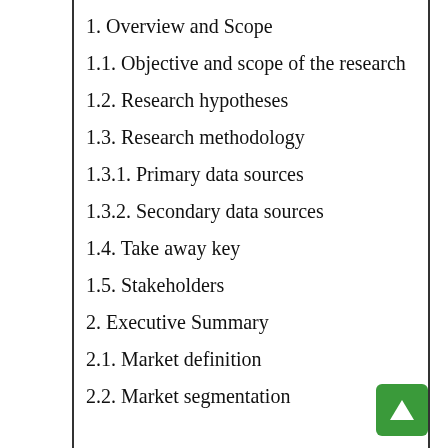1. Overview and Scope
1.1. Objective and scope of the research
1.2. Research hypotheses
1.3. Research methodology
1.3.1. Primary data sources
1.3.2. Secondary data sources
1.4. Take away key
1.5. Stakeholders
2. Executive Summary
2.1. Market definition
2.2. Market segmentation